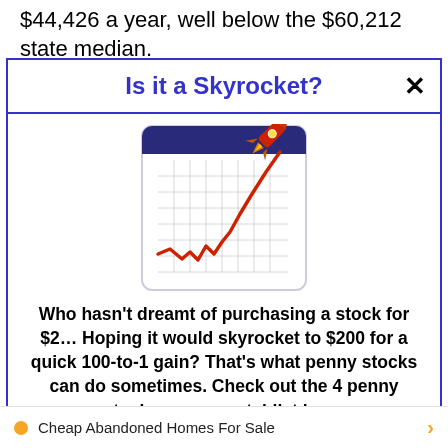$44,426 a year, well below the $60,212 state median.
Is it a Skyrocket?
[Figure (illustration): A stock chart illustration showing a rising red line on a grid calendar background, with a rocket launching from the top right corner, suggesting a skyrocketing stock price.]
Who hasn't dreamt of purchasing a stock for $2… Hoping it would skyrocket to $200 for a quick 100-to-1 gain? That's what penny stocks can do sometimes. Check out the 4 penny stocks on our watchlist here.
>>> See The List <<<
Cheap Abandoned Homes For Sale